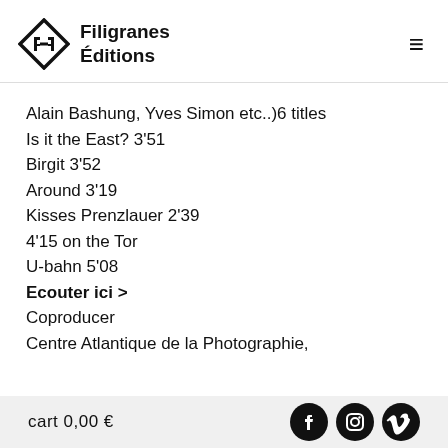Filigranes Éditions
Alain Bashung, Yves Simon etc..)6 titles
Is it the East? 3'51
Birgit 3'52
Around 3'19
Kisses Prenzlauer 2'39
4'15 on the Tor
U-bahn 5'08
Ecouter ici >
Coproducer
Centre Atlantique de la Photographie,
cart 0,00 €